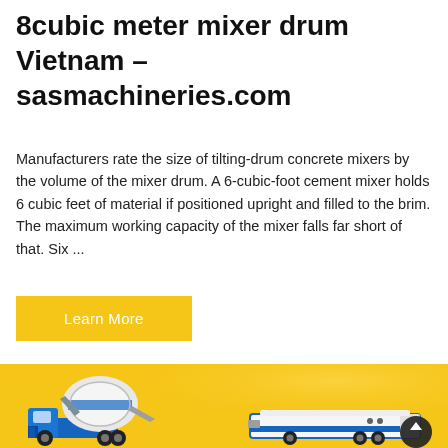8cubic meter mixer drum Vietnam – sasmachineries.com
Manufacturers rate the size of tilting-drum concrete mixers by the volume of the mixer drum. A 6-cubic-foot cement mixer holds 6 cubic feet of material if positioned upright and filled to the brim. The maximum working capacity of the mixer falls far short of that. Six ...
Learn More
[Figure (photo): Yellow background product image showing two construction vehicles: a blue and white self-loading concrete mixer truck on the left, and a white and blue concrete mixer trailer on the right. A dark circular scroll-to-top button is visible at the bottom right.]